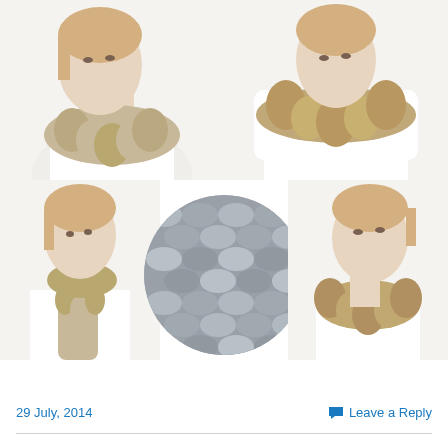[Figure (photo): Collage of five photos showing a woman wearing a chunky knit cowl/infinity scarf in beige/taupe, plus a close-up circle of grey chunky knit texture. Top row: two photos of woman wearing the scarf; bottom row: woman wearing long version on left, grey knit texture close-up in circle center, woman wearing scarf on right.]
29 July, 2014
Leave a Reply